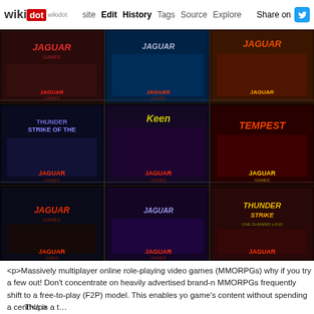wikidot | site | Edit | History | Tags | Source | Explore | Share on Twitter
[Figure (photo): Photograph of multiple Atari Jaguar game cartridges spread out in a grid, showing various game titles including Jaguar games with colorful cover art against dark backgrounds. Games visible include Tempest and other Jaguar titles.]
<p>Massively multiplayer online role-playing video games (MMORPGs) why if you try a few out! Don't concentrate on heavily advertised brand-n MMORPGs frequently shift to a free-to-play (F2P) model. This enables yo game's content without spending a cent!</p>
This is a truncated/partial line at bottom of page